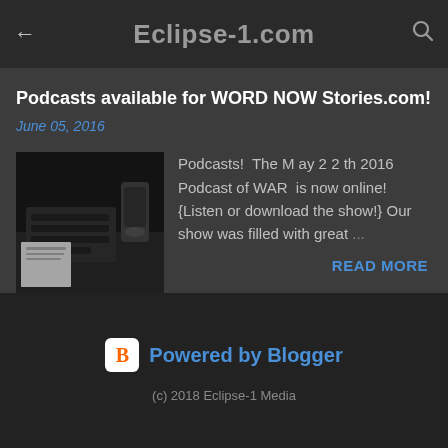Eclipse-1.com
Podcasts available for WORD NOW Stories.com!
June 05, 2016
[Figure (photo): Black and white photo of a desk with a keyboard, papers, and audio equipment]
Podcasts!  The M ay 2 2 th 2016 Podcast of WAR  is now online! {Listen or download the show!} Our show was filled with great …
READ MORE
Powered by Blogger
(c) 2018 Eclipse-1 Media